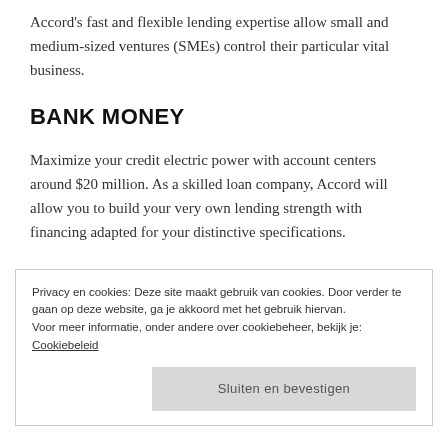Accord's fast and flexible lending expertise allow small and medium-sized ventures (SMEs) control their particular vital business.
BANK MONEY
Maximize your credit electric power with account centers around $20 million. As a skilled loan company, Accord will allow you to build your very own lending strength with financing adapted for your distinctive specifications.
EQUIPMENT MONEY
Privacy en cookies: Deze site maakt gebruik van cookies. Door verder te gaan op deze website, ga je akkoord met het gebruik hiervan.
Voor meer informatie, onder andere over cookiebeheer, bekijk je: Cookiebeleid
Sluiten en bevestigen
company g om